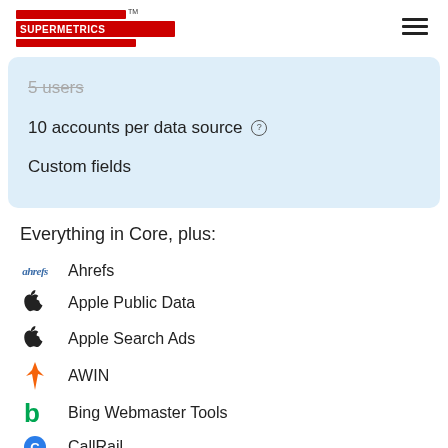Supermetrics™
5 users
10 accounts per data source
Custom fields
Everything in Core, plus:
Ahrefs
Apple Public Data
Apple Search Ads
AWIN
Bing Webmaster Tools
CallRail